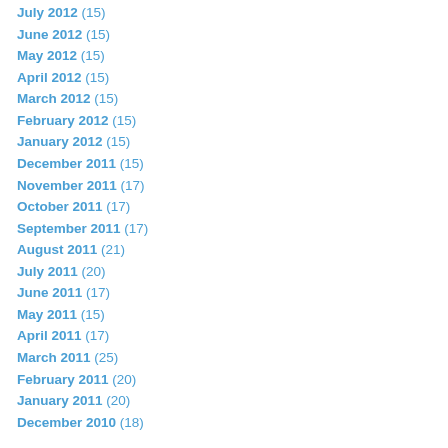July 2012 (15)
June 2012 (15)
May 2012 (15)
April 2012 (15)
March 2012 (15)
February 2012 (15)
January 2012 (15)
December 2011 (15)
November 2011 (17)
October 2011 (17)
September 2011 (17)
August 2011 (21)
July 2011 (20)
June 2011 (17)
May 2011 (15)
April 2011 (17)
March 2011 (25)
February 2011 (20)
January 2011 (20)
December 2010 (18)